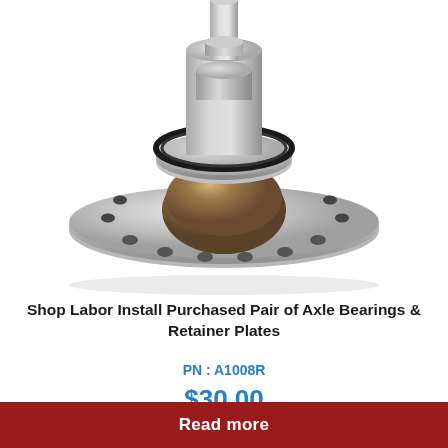[Figure (photo): Close-up photograph of a machined stainless steel axle bearing and retainer plate assembly, showing a flanged hub with bolt holes and a central bearing on a shaft, on a white background.]
Shop Labor Install Purchased Pair of Axle Bearings & Retainer Plates
PN : A1008R
$30.00
Read more